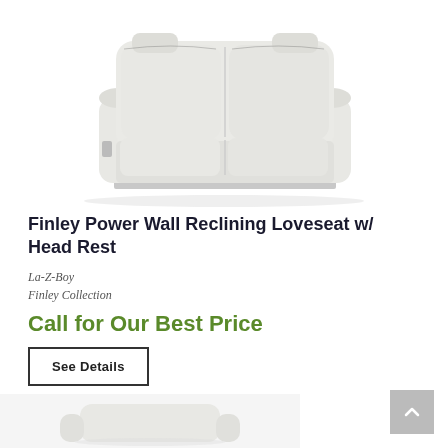[Figure (photo): Light gray/cream La-Z-Boy Finley Power Wall Reclining Loveseat with two seats, shown in upright position against white background]
Finley Power Wall Reclining Loveseat w/ Head Rest
La-Z-Boy
Finley Collection
Call for Our Best Price
See Details
[Figure (photo): Partial view of another sofa/loveseat product below, partially visible at bottom of page]